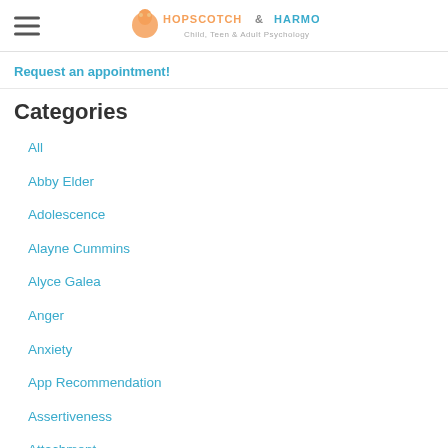HOPSCOTCH & HARMONY Child, Teen & Adult Psychology
Request an appointment!
Categories
All
Abby Elder
Adolescence
Alayne Cummins
Alyce Galea
Anger
Anxiety
App Recommendation
Assertiveness
Attachment
Autism
Body Image
Body Intelligence
Body Scan
Book Recommendation